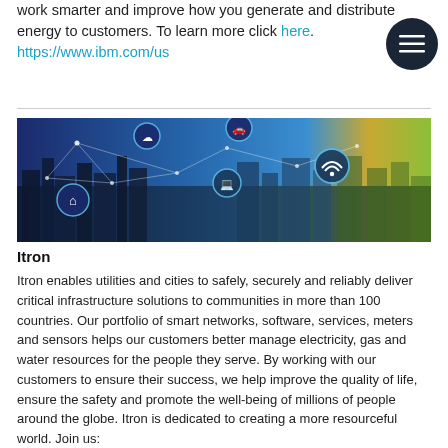work smarter and improve how you generate and distribute energy to customers. To learn more click here.
https://www.ibm.com/us
[Figure (photo): Smart city panorama with glowing network connectivity icons (home, car, wifi, computer) overlaid on a cityscape, transitioning from blue/purple on left to warm gold/green on right.]
Itron
Itron enables utilities and cities to safely, securely and reliably deliver critical infrastructure solutions to communities in more than 100 countries. Our portfolio of smart networks, software, services, meters and sensors helps our customers better manage electricity, gas and water resources for the people they serve. By working with our customers to ensure their success, we help improve the quality of life, ensure the safety and promote the well-being of millions of people around the globe. Itron is dedicated to creating a more resourceful world. Join us:
www.itron.com